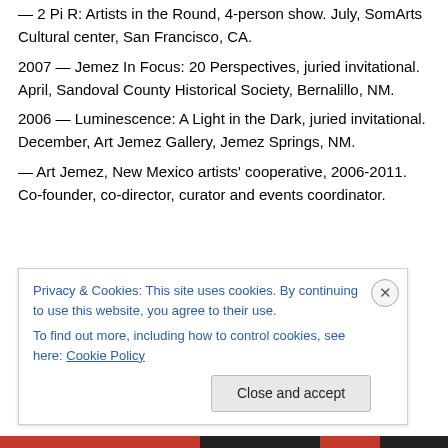— 2 Pi R: Artists in the Round, 4-person show. July, SomArts Cultural center, San Francisco, CA.
2007 — Jemez In Focus: 20 Perspectives, juried invitational. April, Sandoval County Historical Society, Bernalillo, NM.
2006 — Luminescence: A Light in the Dark, juried invitational. December, Art Jemez Gallery, Jemez Springs, NM.
— Art Jemez, New Mexico artists' cooperative, 2006-2011. Co-founder, co-director, curator and events coordinator.
Privacy & Cookies: This site uses cookies. By continuing to use this website, you agree to their use.
To find out more, including how to control cookies, see here: Cookie Policy